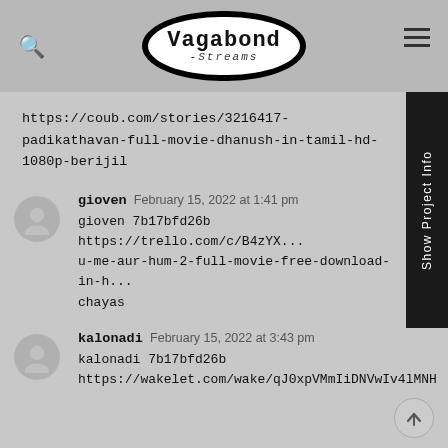[Figure (logo): Vagabond Streams logo — black oval outline with white fill, text 'Vagabond' in bold monospace and 'streams' in italic script below]
https://coub.com/stories/3216417-padikathavan-full-movie-dhanush-in-tamil-hd-1080p-berijil
gioven  February 15, 2022 at 1:41 pm
gioven 7b17bfd26b https://trello.com/c/B4zYX...u-me-aur-hum-2-full-movie-free-download-in-h...chayas
kalonadi  February 15, 2022 at 3:43 pm
kalonadi 7b17bfd26b
https://wakelet.com/wake/qJ0xpVMmIiDNVwIv4lMNH